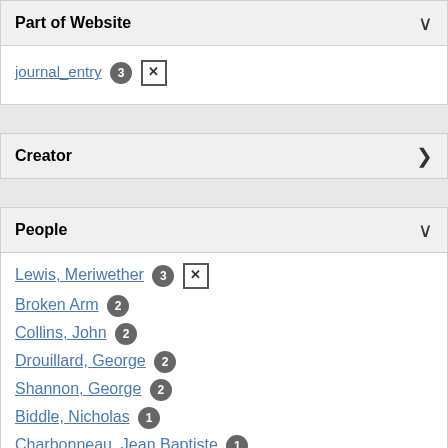Part of Website ▾
journal_entry 3 ✕
Creator ▶
People ▾
Lewis, Meriwether 3 ✕
Broken Arm 2
Collins, John 2
Drouillard, George 2
Shannon, George 2
Biddle, Nicholas 1
Charbonneau, Jean Baptiste 1
Charbonneau, Toussaint 1